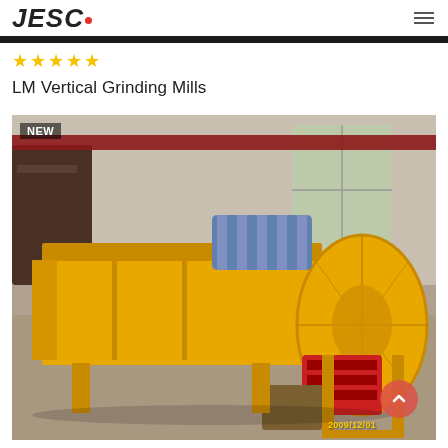JESCO
★★★★★
LM Vertical Grinding Mills
[Figure (photo): Yellow industrial vibrating screen / grinding mill machine photographed in a warehouse setting. A 'NEW' badge appears in the top-left corner of the image. A red circular scroll-to-top button is visible in the bottom-right area. A timestamp '2009/12/01' appears at the bottom right of the image.]